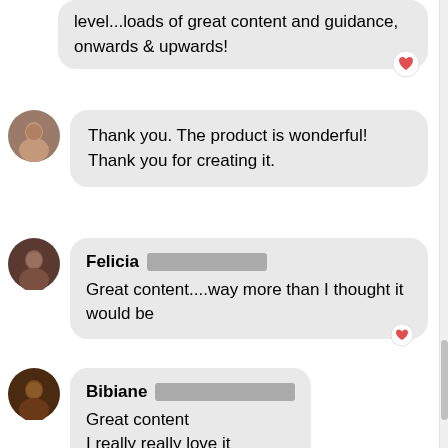I've just purchased up to the 7th level...loads of great content and guidance, onwards & upwards!
Thank you. The product is wonderful! Thank you for creating it.
Felicia [REDACTED] Great content....way more than I thought it would be
Bibiane [REDACTED] Great content
I really really love it
Thank you